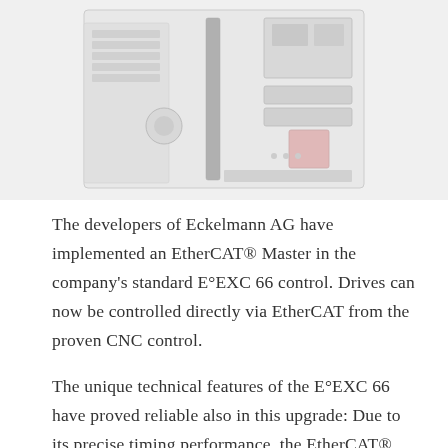[Figure (photo): Photo of Eckelmann E°EXC 66 CNC control unit device, showing front panel with display, connectors, and interface elements. Image is partially cropped showing the top portion of the device.]
The developers of Eckelmann AG have implemented an EtherCAT® Master in the company's standard E°EXC 66 control. Drives can now be controlled directly via EtherCAT from the proven CNC control.
The unique technical features of the E°EXC 66 have proved reliable also in this upgrade: Due to its precise timing performance, the EtherCAT® Master itself functions as a distributed clock master. With full control over the bus clock, the controller keeps the system clocks' deviation from each other within the lowest accuracy range.